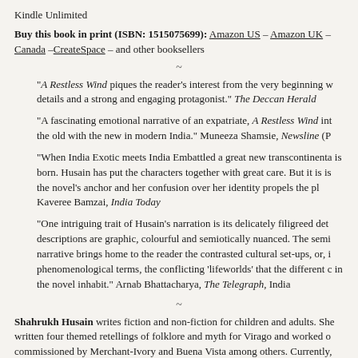Kindle Unlimited
Buy this book in print (ISBN: 1515075699): Amazon US – Amazon UK – Canada –CreateSpace – and other booksellers
~
“A Restless Wind piques the reader’s interest from the very beginning with vivid details and a strong and engaging protagonist.” The Deccan Herald
“A fascinating emotional narrative of an expatriate, A Restless Wind interweaves the old with the new in modern India.” Muneeza Shamsie, Newsline (Pakistan)
“When India Exotic meets India Embattled a great new transcontinental narrative is born. Husain has put the characters together with great care. But it is Mira who is the novel’s anchor and her confusion over her identity propels the plot.” Kaveree Bamzai, India Today
“One intriguing trait of Husain’s narration is its delicately filigreed details; the descriptions are graphic, colourful and semiotically nuanced. The semiotic narrative brings home to the reader the contrasted cultural set-ups, or, in phenomenological terms, the conflicting ‘lifeworlds’ that the different characters in the novel inhabit.” Arnab Bhattacharya, The Telegraph, India
~
Shahrukh Husain writes fiction and non-fiction for children and adults. She has written four themed retellings of folklore and myth for Virago and worked on scripts commissioned by Merchant-Ivory and Buena Vista among others. Currently,